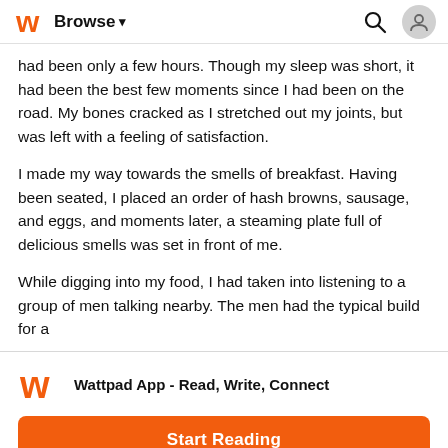Browse
had been only a few hours. Though my sleep was short, it had been the best few moments since I had been on the road. My bones cracked as I stretched out my joints, but was left with a feeling of satisfaction.
I made my way towards the smells of breakfast. Having been seated, I placed an order of hash browns, sausage, and eggs, and moments later, a steaming plate full of delicious smells was set in front of me.
While digging into my food, I had taken into listening to a group of men talking nearby. The men had the typical build for a
Wattpad App - Read, Write, Connect
Start Reading
Log in with Browser